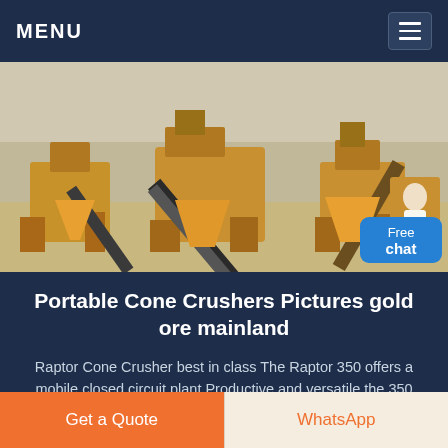MENU
[Figure (photo): Outdoor mining/quarry scene with large yellow portable cone crusher machines and conveyor belts on a rocky terrain with white/grey quarry walls in the background. A small figure of a person in white appears at the lower right corner.]
Portable Cone Crushers Pictures gold ore mainland
Raptor Cone Crusher best in class The Raptor 350 offers a mobile closed circuit plant Productive and versatile the 350 Cone Crusher is readily mounted and easily transportable on a portable cone/...